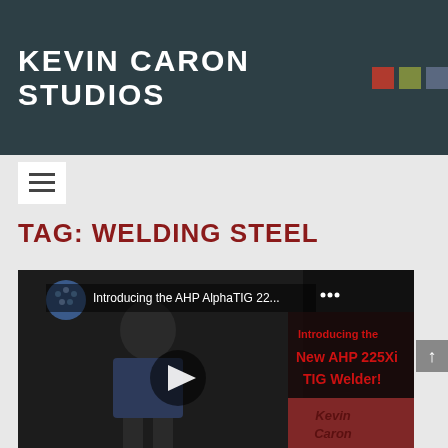KEVIN CARON STUDIOS
[Figure (screenshot): Navigation bar with hamburger menu icon on grey background]
TAG: WELDING STEEL
[Figure (screenshot): YouTube video thumbnail showing a man presenting the AHP AlphaTIG 225Xi TIG Welder, with text overlay reading 'Introducing the New AHP 225Xi TIG Welder! Kevin Caron']